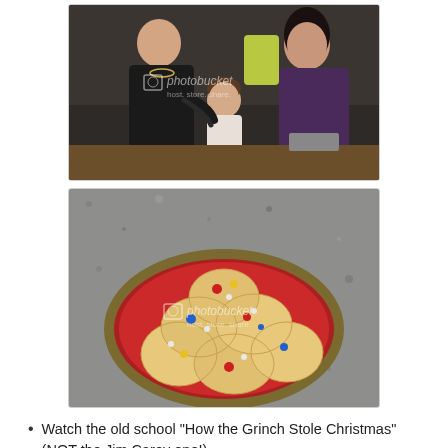[Figure (photo): Two women and a toddler in a kitchen, with Photobucket watermark overlay]
[Figure (photo): A red plate with sugar cookies decorated with colorful candy pieces, on a granite counter, with Photobucket watermark]
Watch the old school "How the Grinch Stole Christmas" (NOT the Jim Carey one!)
[Figure (photo): Partially visible photo at bottom of page]